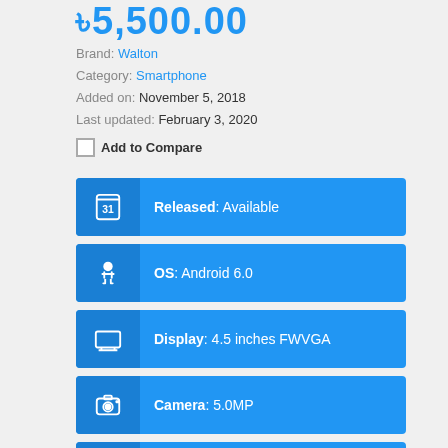৳5,500.00
Brand: Walton
Category: Smartphone
Added on: November 5, 2018
Last updated: February 3, 2020
Add to Compare
Released: Available
OS: Android 6.0
Display: 4.5 inches FWVGA
Camera: 5.0MP
RAM: 512 MB RAM
Battery: 1700 mAh Battery